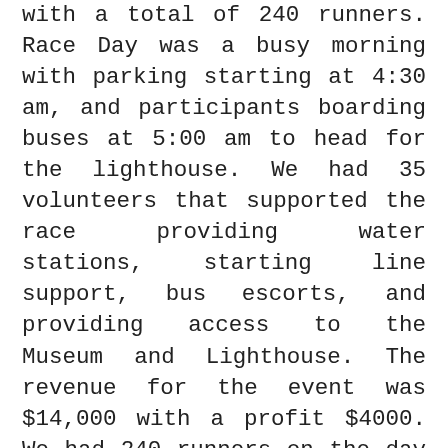with a total of 240 runners. Race Day was a busy morning with parking starting at 4:30 am, and participants boarding buses at 5:00 am to head for the lighthouse. We had 35 volunteers that supported the race providing water stations, starting line support, bus escorts, and providing access to the Museum and Lighthouse. The revenue for the event was $14,000 with a profit $4000. We had 240 runners on the day of the event and 290 paid participants. The race was truly a team effort. Once again, I want to say thank you to Shane Smith who worked all the details with the Space Force, Todd McDowell who worked both the parking and buses, Mary Anne Moore who coordinated the volunteers, the Space Force especially security, the Cape Canaveral Port Authority and Jacob Davis of Southern timing. We look forward to next year where we will capitalize on this year's experience and